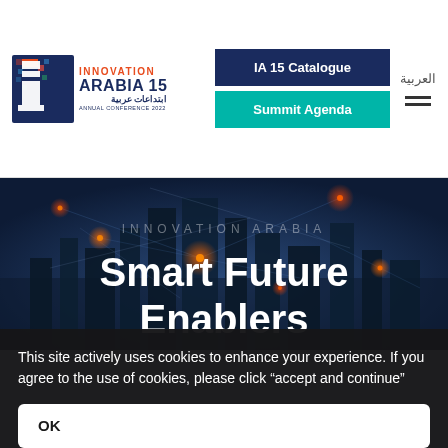[Figure (logo): Innovation Arabia 15 logo with pixelated 'i' icon in blue and red, text reading INNOVATION ARABIA 15 with Arabic text and ANNUAL CONFERENCE 2022]
IA 15 Catalogue | Summit Agenda | العربية
[Figure (photo): Dark blue hero background showing a smart city skyline with glowing network connection lines overlaid, futuristic digital connectivity theme]
INNOVATION ARABIA
Smart Future Enablers
This site actively uses cookies to enhance your experience. If you agree to the use of cookies, please click “accept and continue”
OK